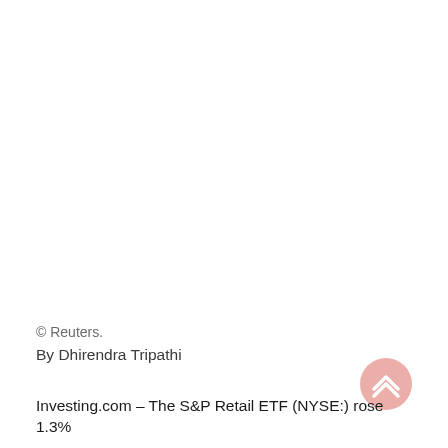© Reuters.
By Dhirendra Tripathi
Investing.com – The S&P Retail ETF (NYSE:) rose 1.3%